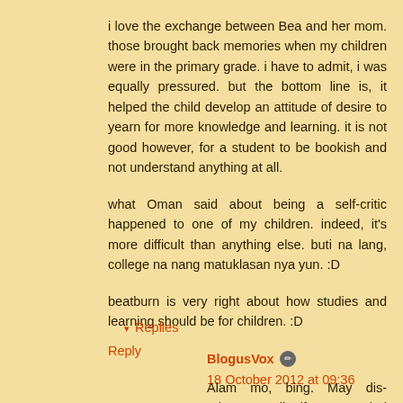i love the exchange between Bea and her mom. those brought back memories when my children were in the primary grade. i have to admit, i was equally pressured. but the bottom line is, it helped the child develop an attitude of desire to yearn for more knowledge and learning. it is not good however, for a student to be bookish and not understand anything at all.
what Oman said about being a self-critic happened to one of my children. indeed, it's more difficult than anything else. buti na lang, college na nang matuklasan nya yun. :D
beatburn is very right about how studies and learning should be for children. :D
Reply
▾ Replies
BlogusVox ✏ 18 October 2012 at 09:36
Alam mo, bing. May dis-advantage din if you married late in life. Nakakapagod. I can't keep up